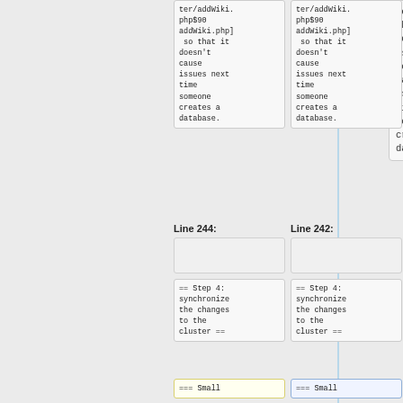| Line 244: | Line 242: |
| --- | --- |
| ter/addWiki.
php$90
addWiki.php]
 so that it
doesn't
cause
issues next
time
someone
creates a
database. | ter/addWiki.
php$90
addWiki.php]
 so that it
doesn't
cause
issues next
time
someone
creates a
database. |
| (empty) | (empty) |
| == Step 4:
synchronize
the changes
to the
cluster == | == Step 4:
synchronize
the changes
to the
cluster == |
| === Small | === Small |